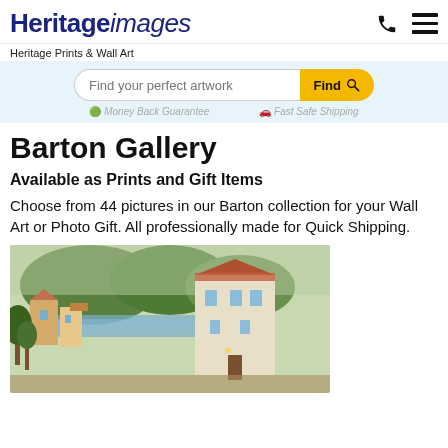Heritage images
Heritage Prints & Wall Art
Find your perfect artwork
Money Back Guarantee   Fast Safe Shipping
Barton Gallery
Available as Prints and Gift Items
Choose from 44 pictures in our Barton collection for your Wall Art or Photo Gift. All professionally made for Quick Shipping.
[Figure (photo): Vintage colour photograph of a coastal or riverside village scene with stone buildings, red-tiled roofs, trees, and a waterway in the background.]